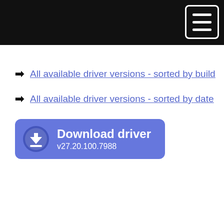Navigation menu header bar
All available driver versions - sorted by build
All available driver versions - sorted by date
[Figure (other): Download driver button with download icon, label 'Download driver' and version 'v27.20.100.7988']